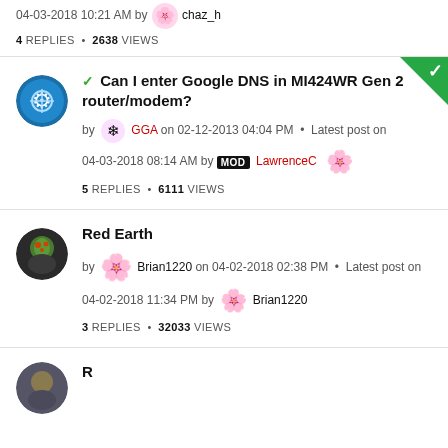04-03-2018 10:21 AM by chaz_h
4 REPLIES • 2638 VIEWS
Can I enter Google DNS in MI424WR Gen 2 router/modem?
by GGA on 02-12-2013 04:04 PM • Latest post on 04-03-2018 08:14 AM by MOD LawrenceC
5 REPLIES • 6111 VIEWS
Red Earth
by Brian1220 on 04-02-2018 02:38 PM • Latest post on 04-02-2018 11:34 PM by Brian1220
3 REPLIES • 32033 VIEWS